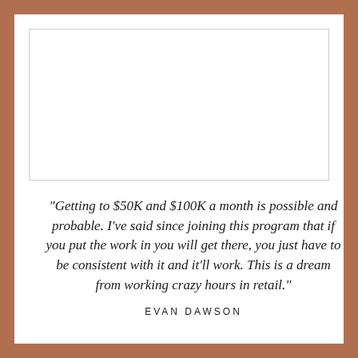[Figure (photo): White rectangular image placeholder area at the top of the card]
"Getting to $50K and $100K a month is possible and probable. I've said since joining this program that if you put the work in you will get there, you just have to be consistent with it and it'll work. This is a dream from working crazy hours in retail."
EVAN DAWSON